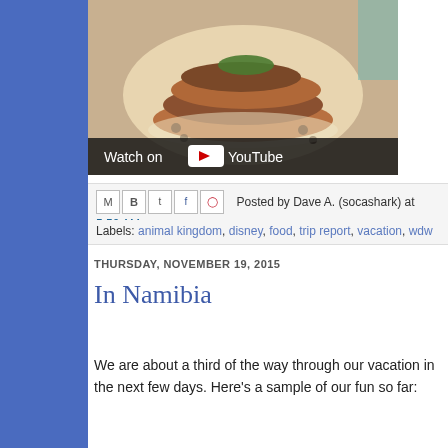[Figure (screenshot): YouTube video thumbnail showing a plated food dish (stacked fish/meat with sauce) with 'Watch on YouTube' overlay bar at bottom]
Posted by Dave A. (socashark) at 5:50 AM
Labels: animal kingdom, disney, food, trip report, vacation, wdw
THURSDAY, NOVEMBER 19, 2015
In Namibia
We are about a third of the way through our vacation in the next few days. Here's a sample of our fun so far: